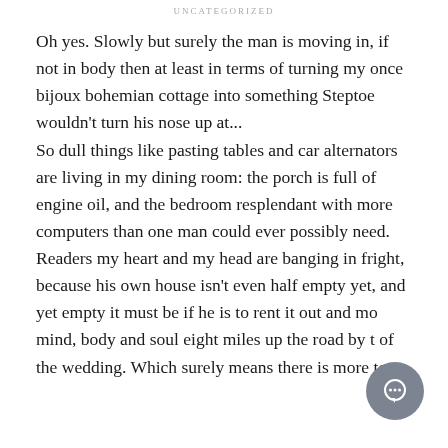UNCATEGORIZED
Oh yes. Slowly but surely the man is moving in, if not in body then at least in terms of turning my once bijoux bohemian cottage into something Steptoe wouldn't turn his nose up at... So dull things like pasting tables and car alternators are living in my dining room: the porch is full of engine oil, and the bedroom resplendant with more computers than one man could ever possibly need. Readers my heart and my head are banging in fright, because his own house isn't even half empty yet, and yet empty it must be if he is to rent it out and mo mind, body and soul eight miles up the road by t of the wedding. Which surely means there is more to